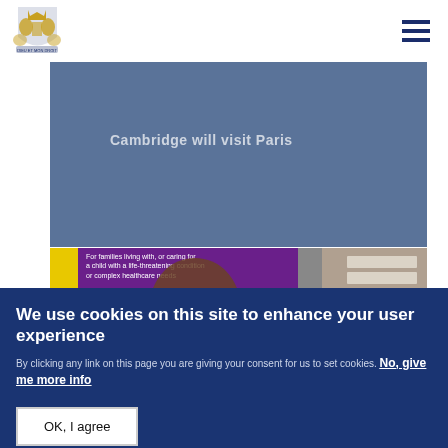UK Government website header with coat of arms logo and hamburger menu
[Figure (screenshot): Blue-grey card with partially visible text 'Cambridge will visit Paris' and a Read more button with arrow]
[Figure (photo): Photo showing a person in front of a purple banner reading 'For families living with, or caring for, a child with a life-threatening condition or complex healthcare needs']
We use cookies on this site to enhance your user experience
By clicking any link on this page you are giving your consent for us to set cookies. No, give me more info
OK, I agree